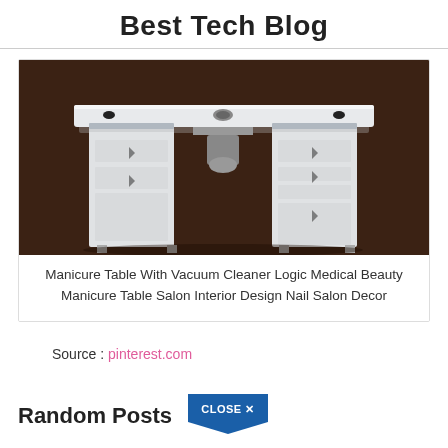Best Tech Blog
[Figure (photo): Manicure table with vacuum cleaner, white dual-pedestal nail salon table with center lamp attachment on dark brown background]
Manicure Table With Vacuum Cleaner Logic Medical Beauty Manicure Table Salon Interior Design Nail Salon Decor
Source : pinterest.com
Random Posts